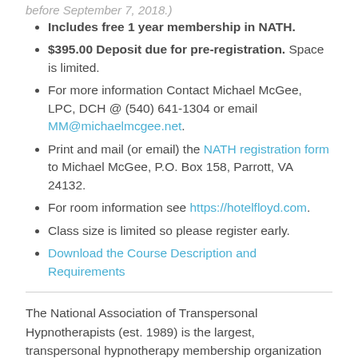before September 7, 2018.)
Includes free 1 year membership in NATH.
$395.00 Deposit due for pre-registration. Space is limited.
For more information Contact Michael McGee, LPC, DCH @ (540) 641-1304 or email MM@michaelmcgee.net.
Print and mail (or email) the NATH registration form to Michael McGee, P.O. Box 158, Parrott, VA 24132.
For room information see https://hotelfloyd.com.
Class size is limited so please register early.
Download the Course Description and Requirements
The National Association of Transpersonal Hypnotherapists (est. 1989) is the largest, transpersonal hypnotherapy membership organization in the United States. Its quality accelerated training programs give it an outstanding...